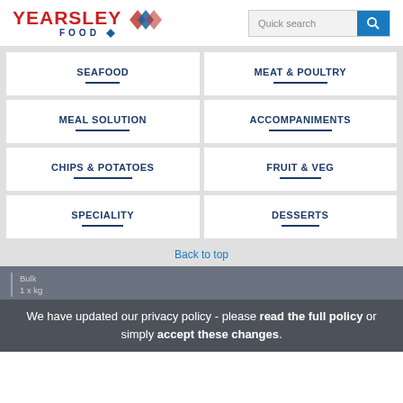YEARSLEY FOOD | Quick search
SEAFOOD
MEAT & POULTRY
MEAL SOLUTION
ACCOMPANIMENTS
CHIPS & POTATOES
FRUIT & VEG
SPECIALITY
DESSERTS
Back to top
Bulk
1 x kg
We have updated our privacy policy - please read the full policy or simply accept these changes.